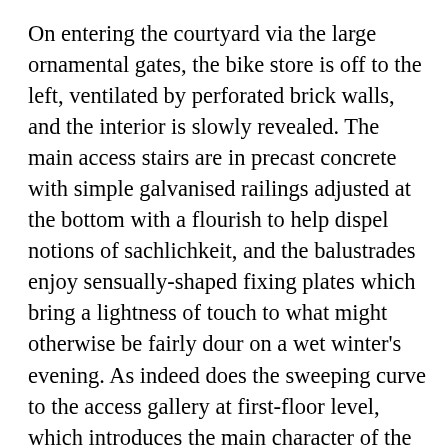On entering the courtyard via the large ornamental gates, the bike store is off to the left, ventilated by perforated brick walls, and the interior is slowly revealed. The main access stairs are in precast concrete with simple galvanised railings adjusted at the bottom with a flourish to help dispel notions of sachlichkeit, and the balustrades enjoy sensually-shaped fixing plates which bring a lightness of touch to what might otherwise be fairly dour on a wet winter's evening. As indeed does the sweeping curve to the access gallery at first-floor level, which introduces the main character of the internal court, with its scalloped access gallery at third-floor level. This series of interconnecting  curved bays forms an extended threshold to the upper dwellings – somewhere to sit out in good weather or park the children's bikes – and, of course